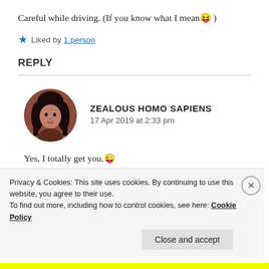Careful while driving. (If you know what I mean😝 )
★ Liked by 1 person
REPLY
[Figure (photo): Round avatar photo of a person with long dark hair, brownish-red toned image]
ZEALOUS HOMO SAPIENS
17 Apr 2019 at 2:33 pm
Yes, I totally get you.😜
Privacy & Cookies: This site uses cookies. By continuing to use this website, you agree to their use.
To find out more, including how to control cookies, see here: Cookie Policy
Close and accept